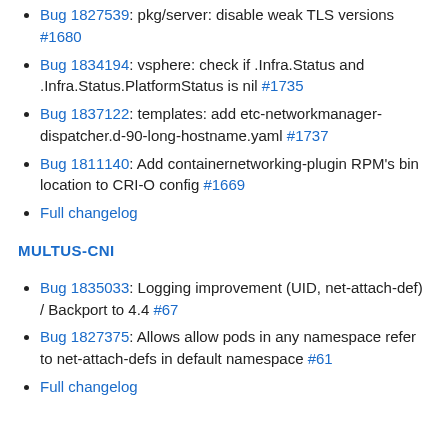Bug 1827539: pkg/server: disable weak TLS versions #1680
Bug 1834194: vsphere: check if .Infra.Status and .Infra.Status.PlatformStatus is nil #1735
Bug 1837122: templates: add etc-networkmanager-dispatcher.d-90-long-hostname.yaml #1737
Bug 1811140: Add containernetworking-plugin RPM's bin location to CRI-O config #1669
Full changelog
MULTUS-CNI
Bug 1835033: Logging improvement (UID, net-attach-def) / Backport to 4.4 #67
Bug 1827375: Allows allow pods in any namespace refer to net-attach-defs in default namespace #61
Full changelog